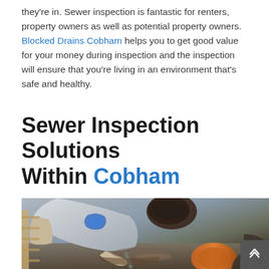they're in. Sewer inspection is fantastic for renters, property owners as well as potential property owners. Blocked Drains Cobham helps you to get good value for your money during inspection and the inspection will ensure that you're living in an environment that's safe and healthy.
Sewer Inspection Solutions Within Cobham
[Figure (photo): A person in grey work clothes bending over a sewer pipe, doing drain inspection or repair work. Visible are orange pipe sections, muddy/wet concrete surroundings, and the worker's dark hair.]